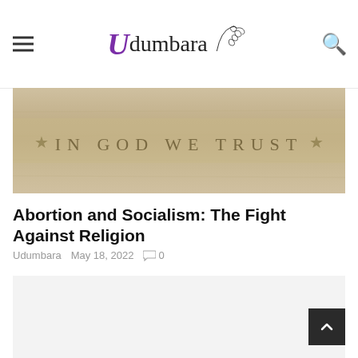Udumbara
[Figure (photo): Stone or marble surface engraved with 'IN GOD WE TRUST' in capital letters with stars on either side]
Abortion and Socialism: The Fight Against Religion
Udumbara  May 18, 2022  0